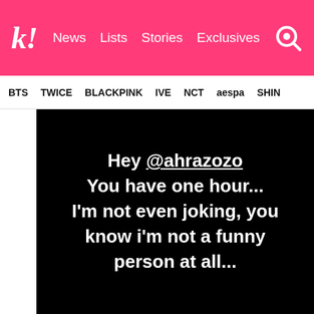k! News Lists Stories Exclusives
BTS TWICE BLACKPINK IVE NCT aespa SHINE
[Figure (screenshot): Black background image with white bold text reading: Hey @ahrazozo You have one hour... I'm not even joking, you know i'm not a funny person at all...]